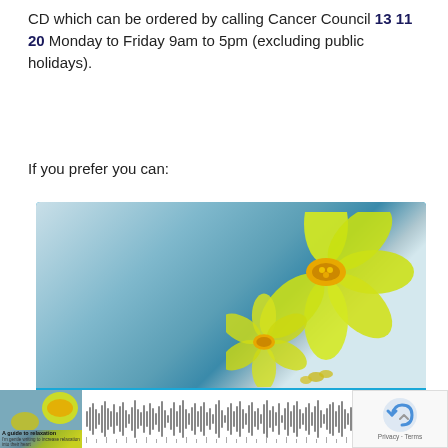CD which can be ordered by calling Cancer Council 13 11 20 Monday to Friday 9am to 5pm (excluding public holidays).
If you prefer you can:
[Figure (photo): An image card showing yellow daffodil flowers on a teal/blue knitted fabric background, with a bright blue panel below containing the text 'Download A Guide to Relaxation' and a white rounded button labeled 'View more'.]
[Figure (screenshot): Bottom partial view of an audio player interface showing a thumbnail of the relaxation guide with yellow flowers, a waveform/audio bar graph, a play button, and the number 119. A reCAPTCHA privacy widget is overlaid on the right.]